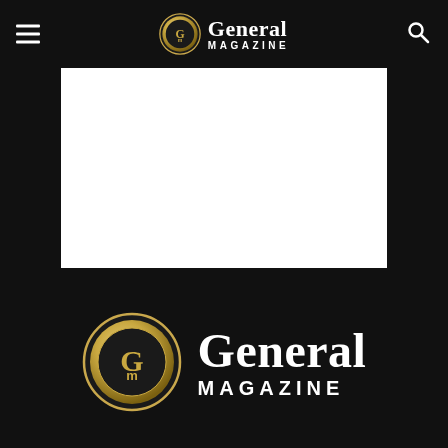General Magazine — navigation header with menu, logo, and search
[Figure (other): White rectangular advertisement or placeholder content box]
[Figure (logo): General Magazine logo — circular GM emblem in gold/black with 'General' in white serif bold and 'MAGAZINE' in white caps tracking]
ABOUT US